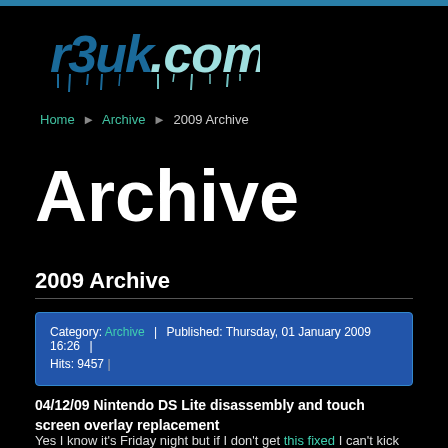[Figure (logo): r3uk.com graffiti-style logo in blue/cyan on black background]
Home ▶ Archive ▶ 2009 Archive
Archive
2009 Archive
Category: Archive | Published: Thursday, 01 January 2009 16:26 | Hits: 9457
04/12/09 Nintendo DS Lite disassembly and touch screen overlay replacement
Yes I know it's Friday night but if I don't get this fixed I can't kick